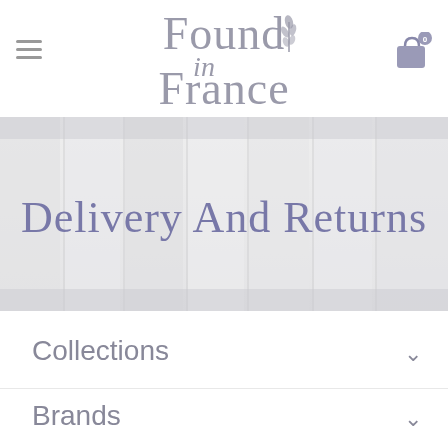Found in France
[Figure (logo): Found in France cursive logo with lavender sprig decoration in grey tones]
Delivery And Returns
Collections
Brands